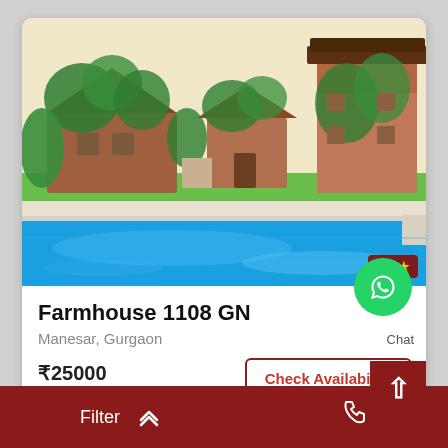[Figure (photo): Farmhouse with ivy-covered brick structures and a large blue swimming pool in the foreground, lush greenery surrounding the property]
Farmhouse 1108 GN
Manesar, Gurgaon
₹25000
per night
Check Availability
4.8 ★
Chat
Filter  ✓  (phone icon)